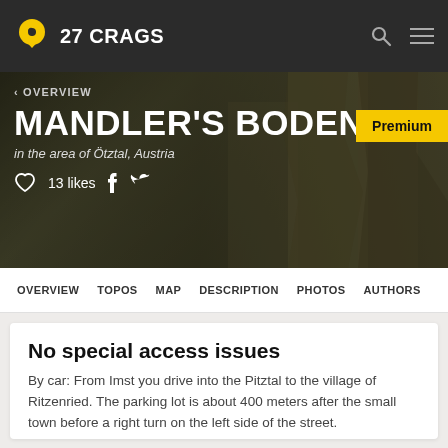27 CRAGS
MANDLER'S BODEN
in the area of Ötztal, Austria
13 likes
OVERVIEW  TOPOS  MAP  DESCRIPTION  PHOTOS  AUTHORS
No special access issues
By car: From Imst you drive into the Pitztal to the village of Ritzenried. The parking lot is about 400 meters after the small town before a right turn on the left side of the street.